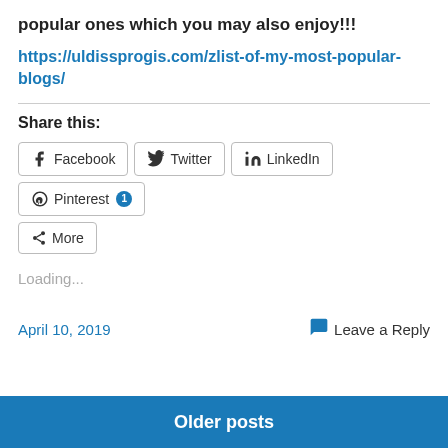popular ones which you may also enjoy!!!
https://uldissprogis.com/zlist-of-my-most-popular-blogs/
Share this:
Facebook  Twitter  LinkedIn  Pinterest 1  More
Loading...
April 10, 2019    Leave a Reply
Older posts